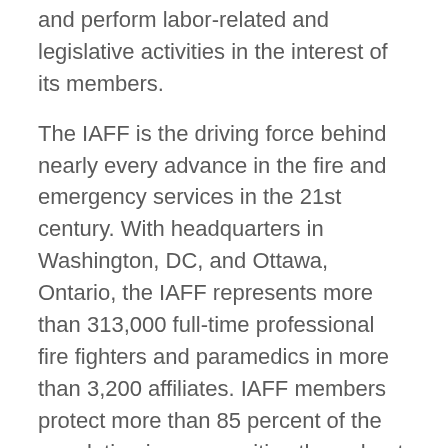and perform labor-related and legislative activities in the interest of its members.
The IAFF is the driving force behind nearly every advance in the fire and emergency services in the 21st century. With headquarters in Washington, DC, and Ottawa, Ontario, the IAFF represents more than 313,000 full-time professional fire fighters and paramedics in more than 3,200 affiliates. IAFF members protect more than 85 percent of the population in communities throughout the United States and Canada. The IAFF is also one of the most active lobbying organizations in Washington, DC. The IAFF Political Action Committee, FIREPAC, is among the top one-half of one